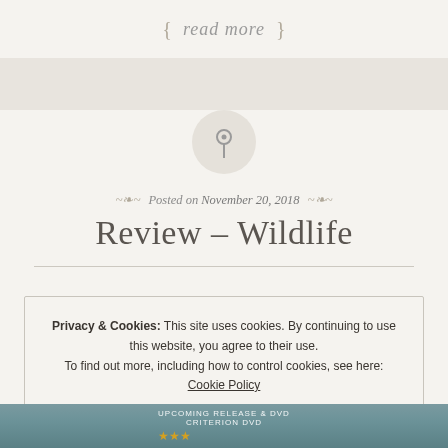{ read more }
[Figure (illustration): Pin icon inside a light gray circle]
Posted on November 20, 2018
Review – Wildlife
Privacy & Cookies: This site uses cookies. By continuing to use this website, you agree to their use.
To find out more, including how to control cookies, see here:
Cookie Policy
Close and accept
[Figure (photo): Bottom strip showing partial movie poster or photo with stars rating]